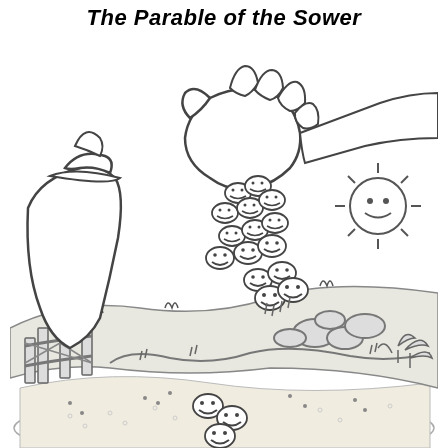The Parable of the Sower
[Figure (illustration): Black and white coloring page illustration depicting the Parable of the Sower. A large hand scatters cartoon seed characters with smiley faces across a landscape. The seeds are falling onto different types of ground: rocky soil with stones, a path, and good soil. There is a wooden fence on the left side, rocks and small plants on the right, a smiling sun in the upper right, and a sower figure (shown only by the hand and sleeve) casting seeds. The scene is drawn in a simple, child-friendly line-art style suitable for coloring.]